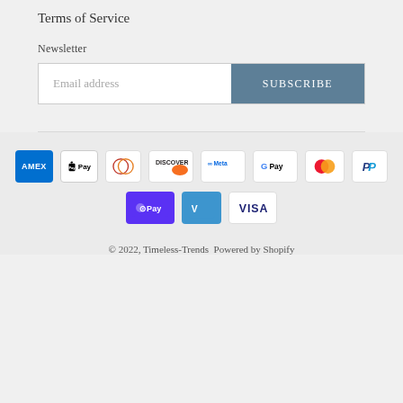Terms of Service
Newsletter
Email address
SUBSCRIBE
[Figure (infographic): Payment method icons: American Express, Apple Pay, Diners Club, Discover, Meta Pay, Google Pay, Mastercard, PayPal, Shop Pay, Venmo, Visa]
© 2022, Timeless-Trends  Powered by Shopify